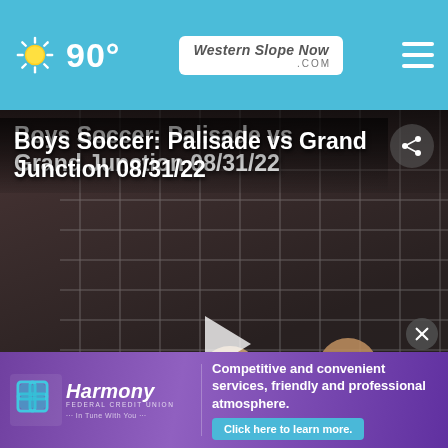90° WesternSlopeNow.com
Boys Soccer: Palisade vs Grand Junction 08/31/22
[Figure (photo): Boys soccer match photo showing goalkeeper in yellow jersey diving for a ball against a player in black uniform, with a goal net in the background. Video player interface with play button overlay.]
[Figure (photo): Thumbnail 1: Boys soccer match video thumbnail with play button, labeled Boys vs Grand Junction]
[Figure (photo): Thumbnail 2: Boys soccer match video thumbnail with play button]
[Figure (photo): Thumbnail 3: partial view, Boys T vs Grand]
Boys vs Gr...
Boys T Gr and
[Figure (advertisement): Harmony Federal Credit Union ad banner with purple background, logo with interconnected squares icon, text reading Competitive and convenient services, friendly and professional atmosphere. Click here to learn more.]